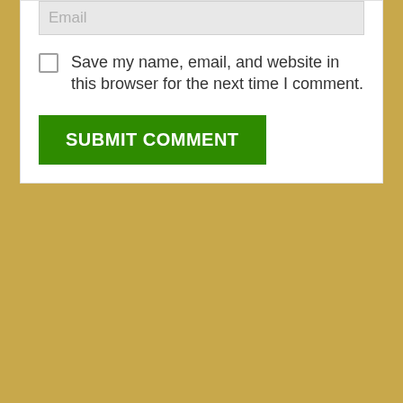Email
Save my name, email, and website in this browser for the next time I comment.
SUBMIT COMMENT